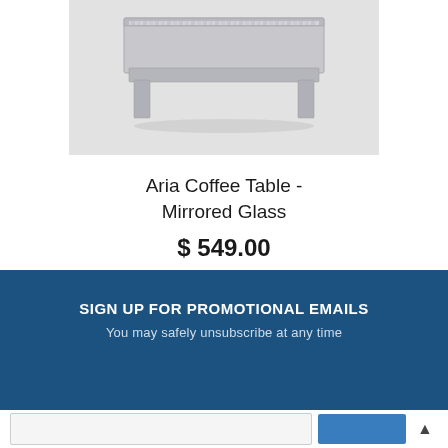[Figure (photo): A mirrored glass coffee table with silver/chrome finish, rectangular shape, shown on a light gray background.]
Aria Coffee Table - Mirrored Glass
$ 549.00
SIGN UP FOR PROMOTIONAL EMAILS
You may safely unsubscribe at any time